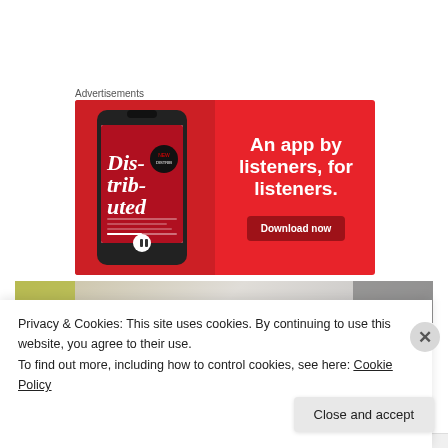Advertisements
[Figure (infographic): Red advertisement banner for a podcast app showing a smartphone with 'Dis-trib-uted' podcast app screen on the left and bold white text 'An app by listeners, for listeners.' with a dark red 'Download now' button on the right.]
[Figure (photo): Partial photo strip showing a blurred background image.]
Privacy & Cookies: This site uses cookies. By continuing to use this website, you agree to their use.
To find out more, including how to control cookies, see here: Cookie Policy
Close and accept